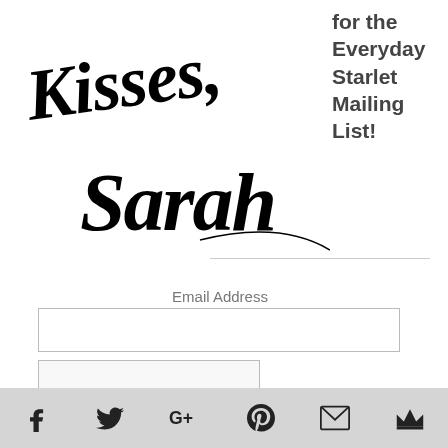[Figure (illustration): Cursive/calligraphy signature reading 'Kisses, Sarah' in black ink on white background]
for the Everyday Starlet Mailing List!
Email Address
[Figure (other): Email address input field (empty text box)]
[Figure (other): Submit button input field (empty)]
Facebook, Twitter, Google+, Pinterest, Email, Crown icons